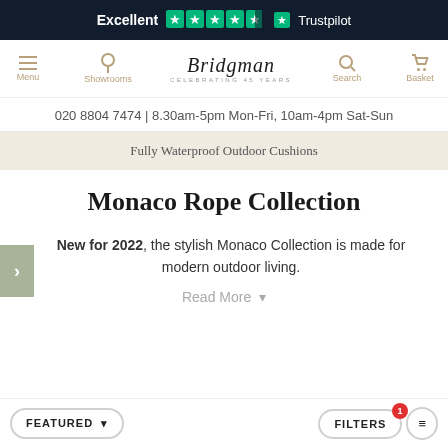Excellent ★★★★½ Trustpilot
[Figure (screenshot): Bridgman navigation bar with Menu, Showrooms, Bridgman CELEBRATING 45 YEARS logo, Search, Basket]
020 8804 7474 | 8.30am-5pm Mon-Fri, 10am-4pm Sat-Sun
Fully Waterproof Outdoor Cushions
Monaco Rope Collection
New for 2022, the stylish Monaco Collection is made for modern outdoor living.
Read More ∨
FEATURED ∨   FILTERS 1